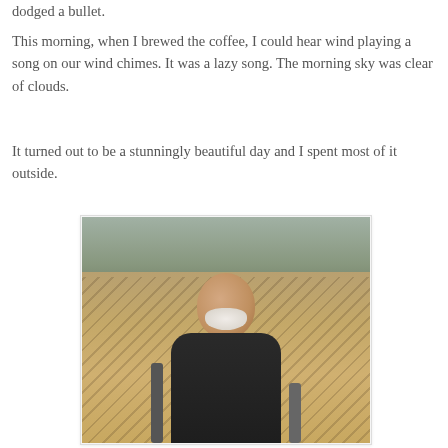dodged a bullet.
This morning, when I brewed the coffee, I could hear wind playing a song on our wind chimes. It was a lazy song. The morning sky was clear of clouds.
It turned out to be a stunningly beautiful day and I spent most of it outside.
[Figure (photo): A bald older man with a white beard wearing a dark long-sleeve shirt, sitting outside in a chair. He is outdoors on a sunny day with trees and leaf-covered ground visible in the background.]